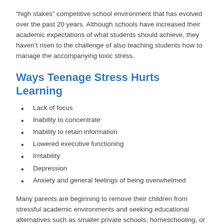“high stakes” competitive school environment that has evolved over the past 20 years. Although schools have increased their academic expectations of what students should achieve, they haven’t risen to the challenge of also teaching students how to manage the accompanying toxic stress.
Ways Teenage Stress Hurts Learning
Lack of focus
Inability to concentrate
Inability to retain information
Lowered executive functioning
Irritability
Depression
Anxiety and general feelings of being overwhelmed
Many parents are beginning to remove their children from stressful academic environments and seeking educational alternatives such as smaller private schools, homeschooling, or charter schools.   Other